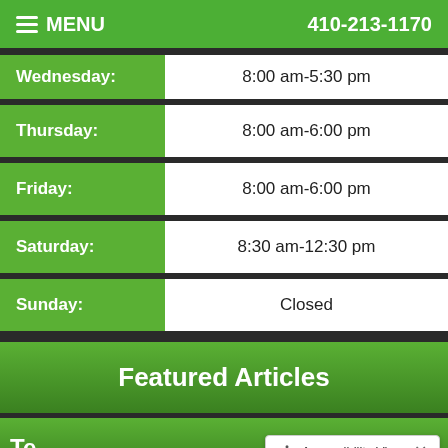MENU   410-213-1170
| Day | Hours |
| --- | --- |
| Wednesday: | 8:00 am-5:30 pm |
| Thursday: | 8:00 am-6:00 pm |
| Friday: | 8:00 am-6:00 pm |
| Saturday: | 8:30 am-12:30 pm |
| Sunday: | Closed |
Featured Articles
Te...
Accessibility View